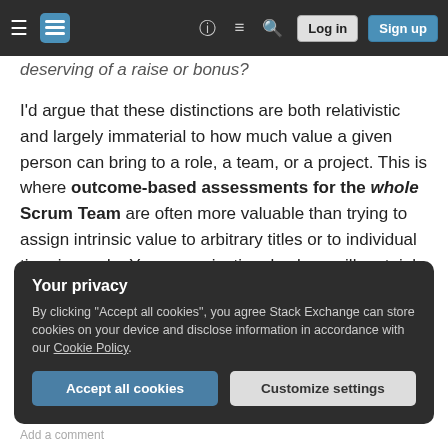Stack Exchange navigation bar with hamburger menu, logo, help, chat, search icons, Log in and Sign up buttons
deserving of a raise or bonus?
I'd argue that these distinctions are both relativistic and largely immaterial to how much value a given person can bring to a role, a team, or a project. This is where outcome-based assessments for the whole Scrum Team are often more valuable than trying to assign intrinsic value to arbitrary titles or to individual time-in-grade. Your organizational values will certainly vary, but the underlying truth of the proposition will not.
Your privacy
By clicking "Accept all cookies", you agree Stack Exchange can store cookies on your device and disclose information in accordance with our Cookie Policy.
Accept all cookies   Customize settings
Add a comment